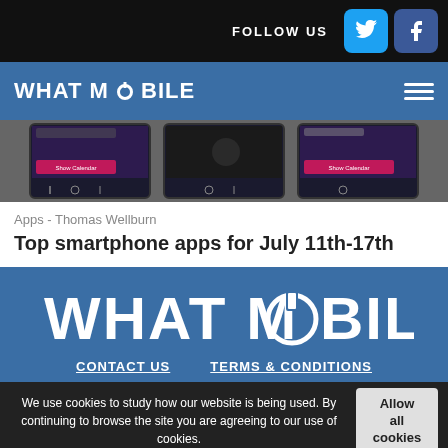FOLLOW US
WHAT MOBILE
[Figure (screenshot): Three smartphone screens showing mobile app interfaces with purple/magenta UI elements and navigation bars]
Apps - Thomas Wellburn
Top smartphone apps for July 11th-17th
[Figure (logo): What Mobile large logo in white text on blue background]
CONTACT US    TERMS & CONDITIONS
We use cookies to study how our website is being used. By continuing to browse the site you are agreeing to our use of cookies.
Copyright What Mobile 2016. All rights reserved.